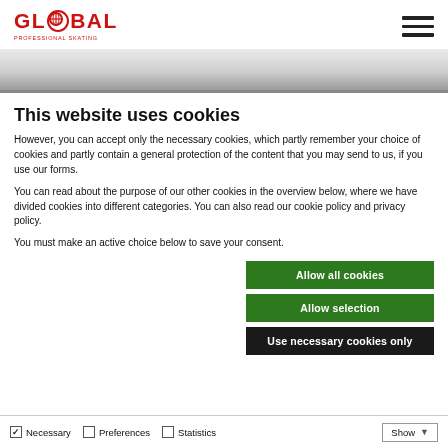[Figure (logo): Global Professional Skating logo with red text and globe icon]
[Figure (other): Hamburger menu icon with three horizontal lines]
[Figure (photo): Gray gradient hero banner image]
This website uses cookies
However, you can accept only the necessary cookies, which partly remember your choice of cookies and partly contain a general protection of the content that you may send to us, if you use our forms.
You can read about the purpose of our other cookies in the overview below, where we have divided cookies into different categories. You can also read our cookie policy and privacy policy.
You must make an active choice below to save your consent.
Allow all cookies
Allow selection
Use necessary cookies only
Necessary   Preferences   Statistics   Show